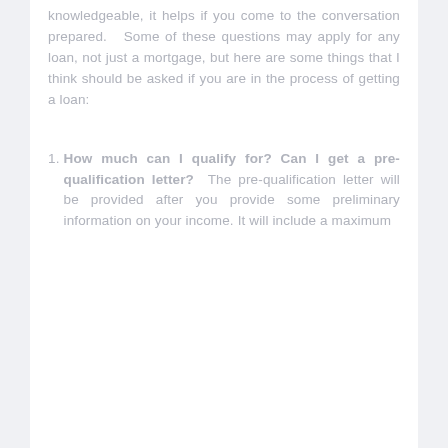knowledgeable, it helps if you come to the conversation prepared. Some of these questions may apply for any loan, not just a mortgage, but here are some things that I think should be asked if you are in the process of getting a loan:
1. How much can I qualify for? Can I get a pre-qualification letter? The pre-qualification letter will be provided after you provide some preliminary information on your income. It will include a maximum